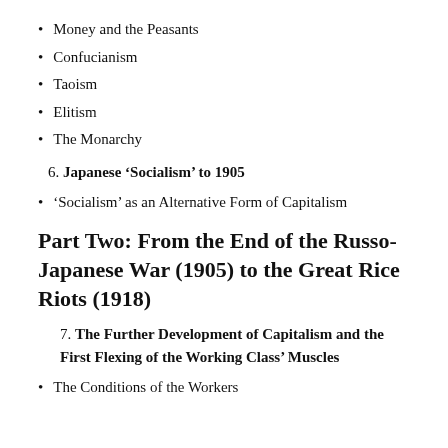Money and the Peasants
Confucianism
Taoism
Elitism
The Monarchy
6. Japanese ‘Socialism’ to 1905
‘Socialism’ as an Alternative Form of Capitalism
Part Two: From the End of the Russo-Japanese War (1905) to the Great Rice Riots (1918)
7. The Further Development of Capitalism and the First Flexing of the Working Class’ Muscles
The Conditions of the Workers